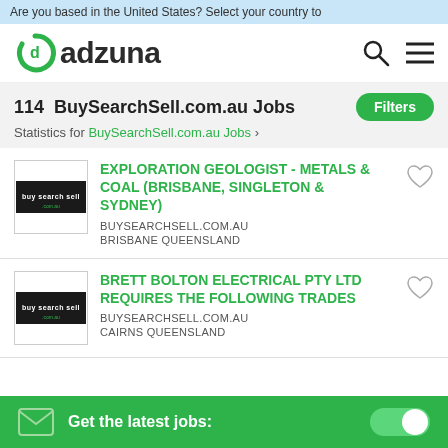Are you based in the United States? Select your country to
[Figure (logo): Adzuna logo - green circular icon with letter d and adzuna text]
114  BuySearchSell.com.au Jobs
Statistics for BuySearchSell.com.au Jobs
EXPLORATION GEOLOGIST - METALS & COAL (BRISBANE, SINGLETON & SYDNEY) | BUYSEARCHSELL.COM.AU | BRISBANE QUEENSLAND
BRETT BOLTON ELECTRICAL PTY LTD REQUIRES THE FOLLOWING TRADES | BUYSEARCHSELL.COM.AU | CAIRNS QUEENSLAND
Get the latest jobs: